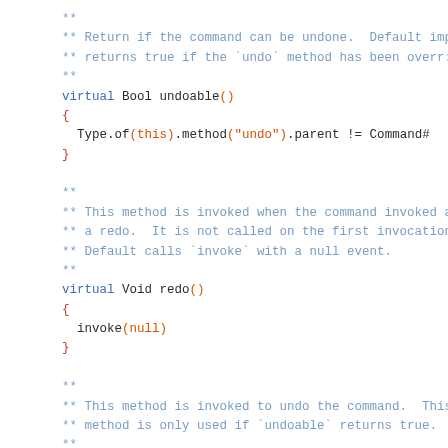** 
** Return if the command can be undone.  Default imp
** returns true if the `undo` method has been overr:
**
virtual Bool undoable()
{
  Type.of(this).method("undo").parent != Command#
}

**
** This method is invoked when the command invoked a
** a redo.  It is not called on the first invocation
** Default calls `invoke` with a null event.
**
virtual Void redo()
{
  invoke(null)
}

**
** This method is invoked to undo the command.  This
** method is only used if `undoable` returns true.
**
virtual Void undo()